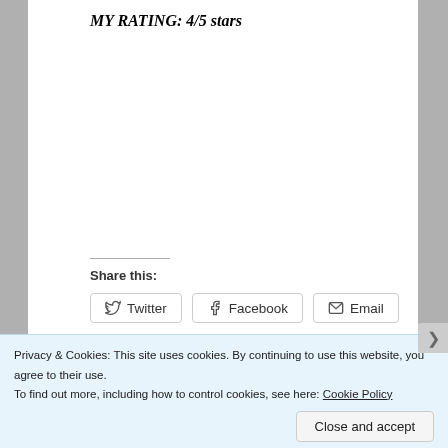MY RATING: 4/5 stars
Share this:
Twitter  Facebook  Email
Loading...
Privacy & Cookies: This site uses cookies. By continuing to use this website, you agree to their use.
To find out more, including how to control cookies, see here: Cookie Policy
Close and accept